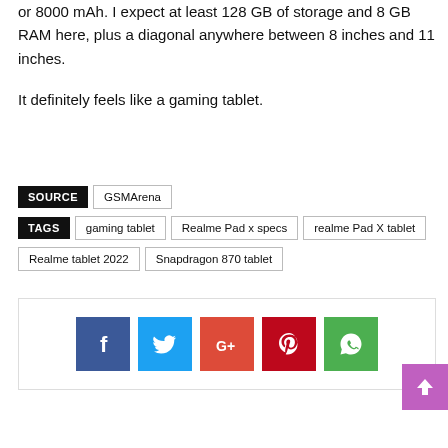or 8000 mAh. I expect at least 128 GB of storage and 8 GB RAM here, plus a diagonal anywhere between 8 inches and 11 inches.
It definitely feels like a gaming tablet.
SOURCE   GSMArena
TAGS   gaming tablet   Realme Pad x specs   realme Pad X tablet   Realme tablet 2022   Snapdragon 870 tablet
[Figure (infographic): Social sharing icons: Facebook (blue), Twitter (cyan), Google+ (orange-red), Pinterest (red), WhatsApp (green), and a pink back-to-top button with upward arrow.]